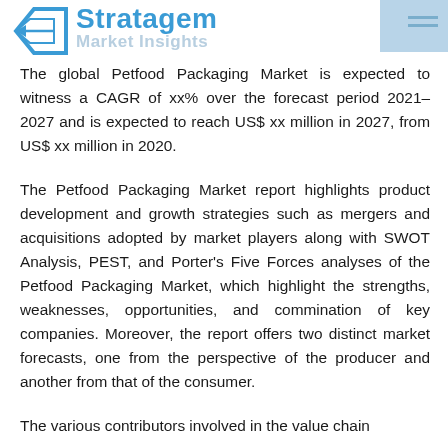Stratagem Market Insights
The global Petfood Packaging Market is expected to witness a CAGR of xx% over the forecast period 2021–2027 and is expected to reach US$ xx million in 2027, from US$ xx million in 2020.
The Petfood Packaging Market report highlights product development and growth strategies such as mergers and acquisitions adopted by market players along with SWOT Analysis, PEST, and Porter's Five Forces analyses of the Petfood Packaging Market, which highlight the strengths, weaknesses, opportunities, and commination of key companies. Moreover, the report offers two distinct market forecasts, one from the perspective of the producer and another from that of the consumer.
The various contributors involved in the value chain